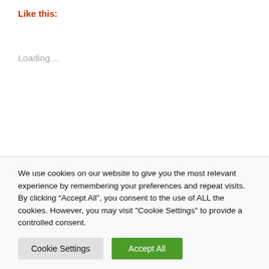Like this:
Loading...
Posted in Donor Communication, Industry Insights, Marketing Trends
Tagged fundraising during coronavirus, fundraising during COVID-19, fundraising ideas during covid 19, nonprofit fundraising during covid-19, planned giving fundraising
We use cookies on our website to give you the most relevant experience by remembering your preferences and repeat visits. By clicking “Accept All”, you consent to the use of ALL the cookies. However, you may visit "Cookie Settings" to provide a controlled consent.